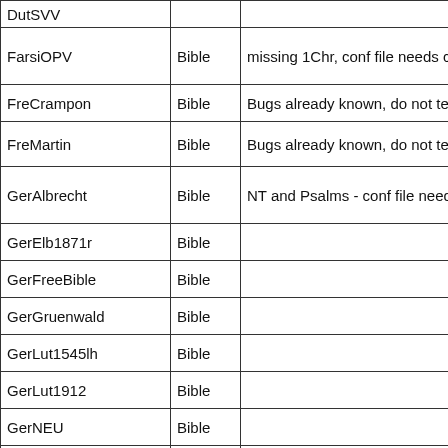| Module | Type | Notes |
| --- | --- | --- |
| DutSVV |  |  |
| FarsiOPV | Bible | missing 1Chr, conf file needs changed |
| FreCrampon | Bible | Bugs already known, do not test. |
| FreMartin | Bible | Bugs already known, do not test. Who... |
| GerAlbrecht | Bible | NT and Psalms - conf file needs chang... |
| GerElb1871r | Bible |  |
| GerFreeBible | Bible |  |
| GerGruenwald | Bible |  |
| GerLut1545lh | Bible |  |
| GerLut1912 | Bible |  |
| GerNEU | Bible |  |
| GerReinhardt | Bible |  |
| GerTafel | Bible |  |
| GnomeSword |  |  |
| Hesychius |  |  |
| KJC |  |  |